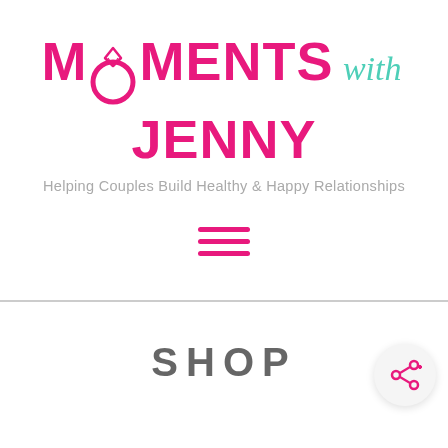[Figure (logo): Moments with Jenny logo: pink stylized text 'MOMENTS' with a diamond ring icon replacing the letter O, teal cursive 'with', pink bold 'JENNY'. Below: grey tagline 'Helping Couples Build Healthy & Happy Relationships'.]
[Figure (other): Pink hamburger menu icon (three horizontal bars)]
SHOP
[Figure (other): Share button icon (circle with share/network symbol) in bottom-right corner]